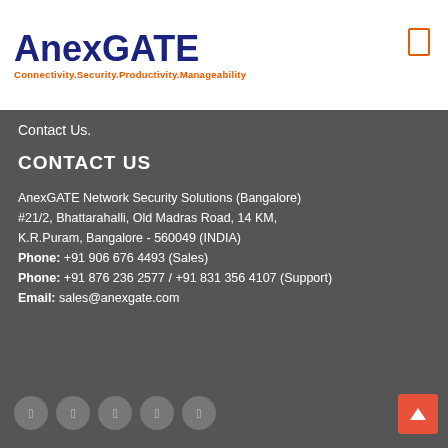AnexGATE — Connectivity.Security.Productivity.Manageability
Contact Us.
CONTACT US
AnexGATE Network Security Solutions (Bangalore)
#21/2, Bhattarahalli, Old Madras Road, 14 KM,
K.R.Puram, Bangalore - 560049 (INDIA)
Phone: +91 906 676 4493 (Sales)
Phone: +91 876 236 2577 / +91 831 356 4107 (Support)
Email: sales@anexgate.com